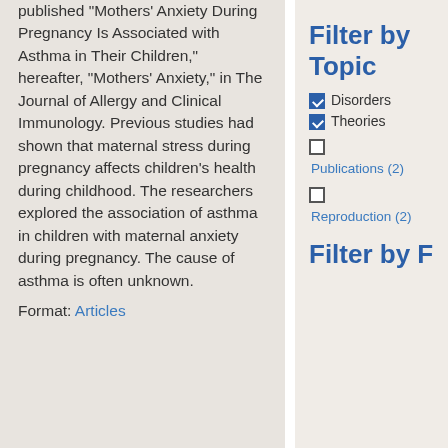published “Mothers’ Anxiety During Pregnancy Is Associated with Asthma in Their Children,” hereafter, “Mothers’ Anxiety,” in The Journal of Allergy and Clinical Immunology. Previous studies had shown that maternal stress during pregnancy affects children’s health during childhood. The researchers explored the association of asthma in children with maternal anxiety during pregnancy. The cause of asthma is often unknown.
Format: Articles
Filter by Topic
Disorders (checked)
Theories (checked)
Publications (2)
Reproduction (2)
Filter by F...